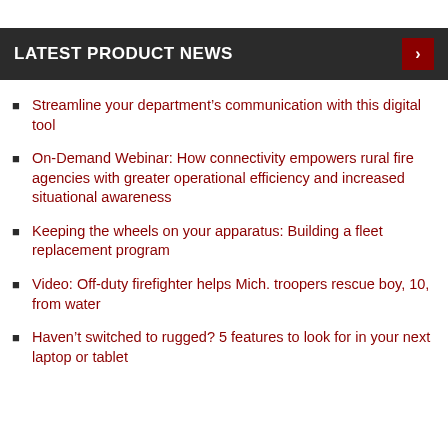LATEST PRODUCT NEWS
Streamline your department’s communication with this digital tool
On-Demand Webinar: How connectivity empowers rural fire agencies with greater operational efficiency and increased situational awareness
Keeping the wheels on your apparatus: Building a fleet replacement program
Video: Off-duty firefighter helps Mich. troopers rescue boy, 10, from water
Haven’t switched to rugged? 5 features to look for in your next laptop or tablet